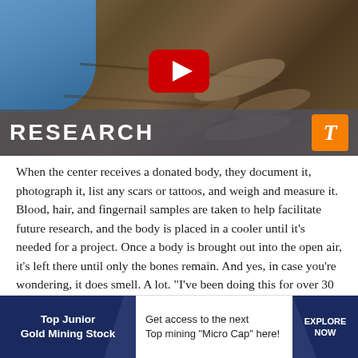[Figure (screenshot): Video thumbnail showing a forensic scene with blue gloved hands examining remains. Shows a YouTube play button overlay. A dark band at the bottom reads 'RESEARCH' with a University of Tennessee orange T logo on the right.]
When the center receives a donated body, they document it, photograph it, list any scars or tattoos, and weigh and measure it. Blood, hair, and fingernail samples are taken to help facilitate future research, and the body is placed in a cooler until it’s needed for a project. Once a body is brought out into the open air, it’s left there until only the bones remain. And yes, in case you’re wondering, it does smell. A lot. “I’ve been doing this for over 30 years and it still stinks,” Meadows Jantz
[Figure (infographic): Advertisement banner for 'Top Junior Gold Mining Stock'. Left side dark blue with text 'Top Junior Gold Mining Stock'. Middle: 'Get access to the next Top mining "Micro Cap" here!' Right side: dark blue with 'EXPLORE NOW'. Wave/chevron design dividing sections.]